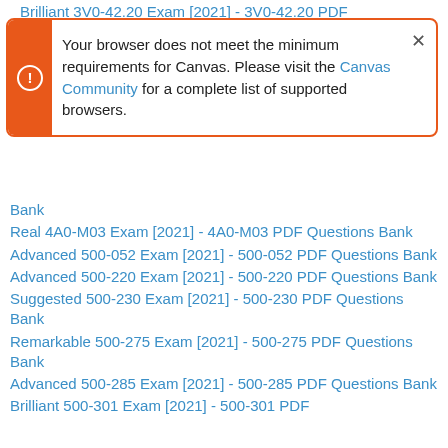Brilliant 3V0-42.20 Exam [2021] - 3V0-42.20 PDF
Your browser does not meet the minimum requirements for Canvas. Please visit the Canvas Community for a complete list of supported browsers.
Bank
Real 4A0-M03 Exam [2021] - 4A0-M03 PDF Questions Bank
Advanced 500-052 Exam [2021] - 500-052 PDF Questions Bank
Advanced 500-220 Exam [2021] - 500-220 PDF Questions Bank
Suggested 500-230 Exam [2021] - 500-230 PDF Questions Bank
Remarkable 500-275 Exam [2021] - 500-275 PDF Questions Bank
Advanced 500-285 Exam [2021] - 500-285 PDF Questions Bank
Brilliant 500-301 Exam [2021] - 500-301 PDF